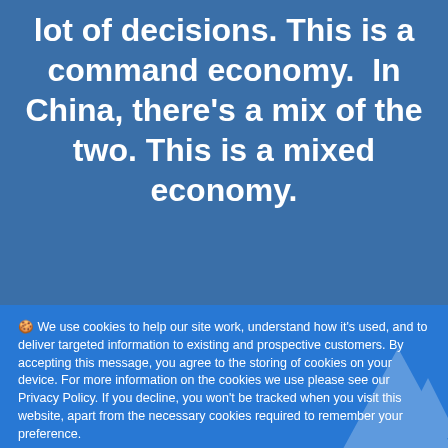lot of decisions. This is a command economy.  In China, there's a mix of the two. This is a mixed economy.
🍪 We use cookies to help our site work, understand how it's used, and to deliver targeted information to existing and prospective customers. By accepting this message, you agree to the storing of cookies on your device. For more information on the cookies we use please see our Privacy Policy. If you decline, you won't be tracked when you visit this website, apart from the necessary cookies required to remember your preference.